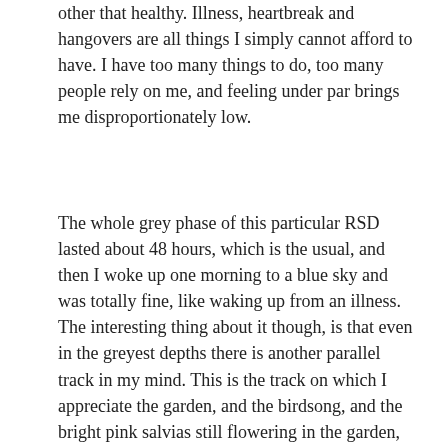other that healthy. Illness, heartbreak and hangovers are all things I simply cannot afford to have. I have too many things to do, too many people rely on me, and feeling under par brings me disproportionately low.
The whole grey phase of this particular RSD lasted about 48 hours, which is the usual, and then I woke up one morning to a blue sky and was totally fine, like waking up from an illness. The interesting thing about it though, is that even in the greyest depths there is another parallel track in my mind. This is the track on which I appreciate the garden, and the birdsong, and the bright pink salvias still flowering in the garden, and my boys' beautiful thick brown hair, and my son being the narrator in the school Nativity play, and Wolf Alice's 'My Love is Cool' album (my favourite at the mo) and and and... so many good reasons to be alive. Holding on to that parallel track, even if it's by my fingertips, is the key to survival. It's the life raft to cling to during the RSD storm, until I wash up on the shore.